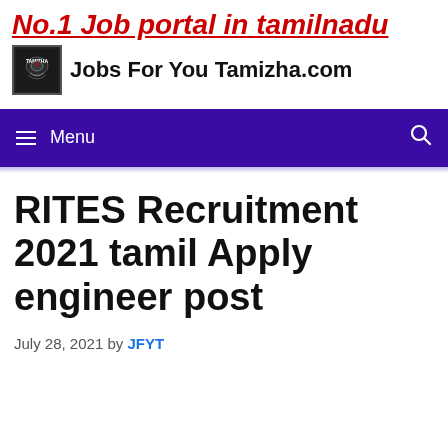No.1 Job portal in tamilnadu — Jobs For You Tamizha.com
RITES Recruitment 2021 tamil Apply engineer post
July 28, 2021 by JFYT